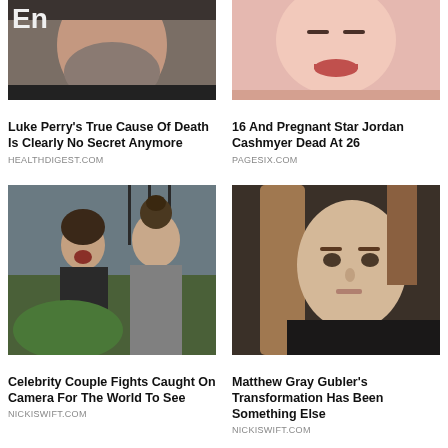[Figure (photo): Close-up photo of Luke Perry, a man with grey beard]
[Figure (photo): Close-up photo of Jordan Cashmyer, a young woman]
Luke Perry's True Cause Of Death Is Clearly No Secret Anymore
16 And Pregnant Star Jordan Cashmyer Dead At 26
HEALTHDIGEST.COM
PAGESIX.COM
[Figure (photo): Photo of a celebrity couple fighting on camera outdoors]
[Figure (photo): Close-up photo of Matthew Gray Gubler with long brown hair]
Celebrity Couple Fights Caught On Camera For The World To See
Matthew Gray Gubler's Transformation Has Been Something Else
NICKISWIFT.COM
NICKISWIFT.COM